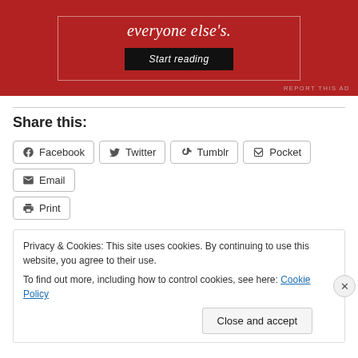[Figure (other): Red advertisement banner with italic text 'everyone else's.' and a dark 'Start reading' button, with 'REPORT THIS AD' link at bottom right]
Share this:
Facebook | Twitter | Tumblr | Pocket | Email | Print
Privacy & Cookies: This site uses cookies. By continuing to use this website, you agree to their use.
To find out more, including how to control cookies, see here: Cookie Policy
Close and accept